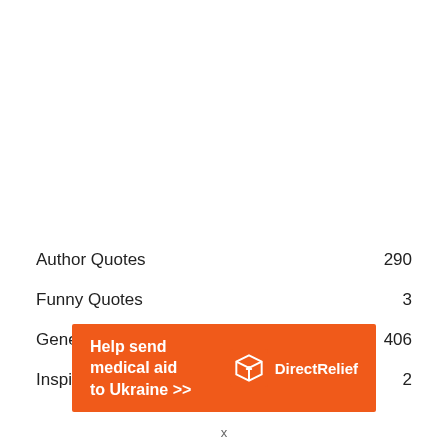Author Quotes  290
Funny Quotes  3
General Quotes  406
Inspirational Quotes  2
[Figure (infographic): Orange advertisement banner: 'Help send medical aid to Ukraine >>' with Direct Relief logo on the right]